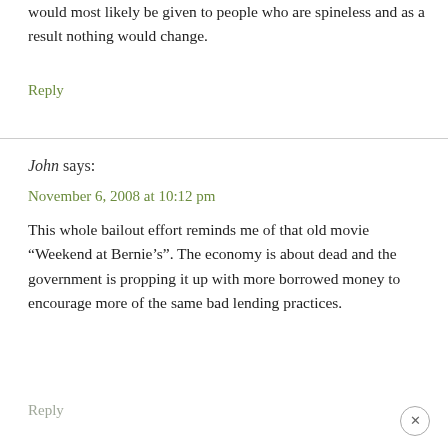would most likely be given to people who are spineless and as a result nothing would change.
Reply
John says:
November 6, 2008 at 10:12 pm
This whole bailout effort reminds me of that old movie “Weekend at Bernie’s”. The economy is about dead and the government is propping it up with more borrowed money to encourage more of the same bad lending practices.
Reply